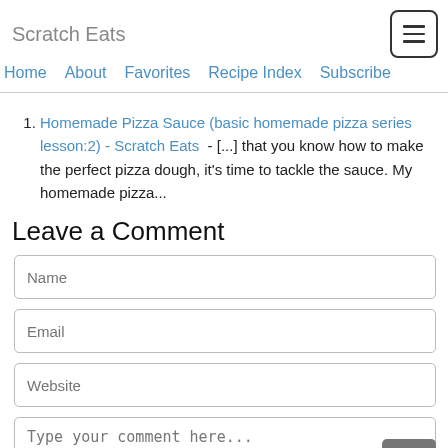Scratch Eats
Home   About   Favorites   Recipe Index   Subscribe
Homemade Pizza Sauce (basic homemade pizza series lesson:2) - Scratch Eats - [...] that you know how to make the perfect pizza dough, it's time to tackle the sauce. My homemade pizza...
Leave a Comment
Name
Email
Website
Type your comment here...